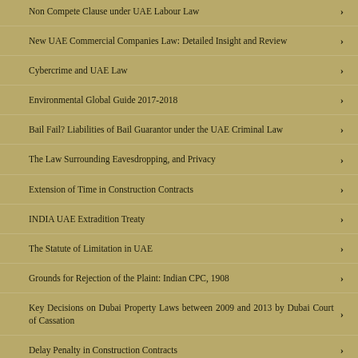Non Compete Clause under UAE Labour Law
New UAE Commercial Companies Law: Detailed Insight and Review
Cybercrime and UAE Law
Environmental Global Guide 2017-2018
Bail Fail? Liabilities of Bail Guarantor under the UAE Criminal Law
The Law Surrounding Eavesdropping, and Privacy
Extension of Time in Construction Contracts
INDIA UAE Extradition Treaty
The Statute of Limitation in UAE
Grounds for Rejection of the Plaint: Indian CPC, 1908
Key Decisions on Dubai Property Laws between 2009 and 2013 by Dubai Court of Cassation
Delay Penalty in Construction Contracts